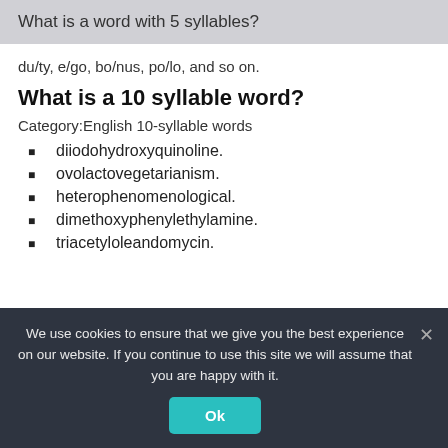What is a word with 5 syllables?
du/ty, e/go, bo/nus, po/lo, and so on.
What is a 10 syllable word?
Category:English 10-syllable words
diiodohydroxyquinoline.
ovolactovegetarianism.
heterophenomenological.
dimethoxyphenylethylamine.
triacetyloleandomycin.
We use cookies to ensure that we give you the best experience on our website. If you continue to use this site we will assume that you are happy with it.